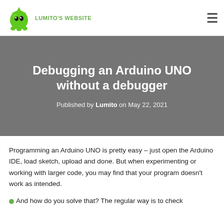LUMITO'S WEBSITE
Debugging an Arduino UNO without a debugger
Published by Lumito on May 22, 2021
Programming an Arduino UNO is pretty easy – just open the Arduino IDE, load sketch, upload and done. But when experimenting or working with larger code, you may find that your program doesn't work as intended.
And how do you solve that? The regular way is to check